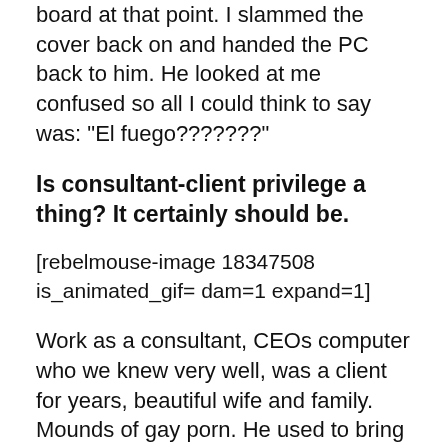crawled out of every hook and cranny on the board at that point. I slammed the cover back on and handed the PC back to him. He looked at me confused so all I could think to say was: "El fuego???????"
Is consultant-client privilege a thing? It certainly should be.
[rebelmouse-image 18347508 is_animated_gif= dam=1 expand=1]
Work as a consultant, CEOs computer who we knew very well, was a client for years, beautiful wife and family. Mounds of gay porn. He used to bring in his computer at least once a month [due] to viruses. Every time we would back everything